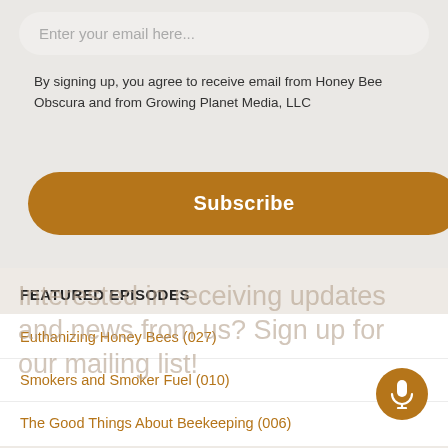[Figure (screenshot): Background photo of people working at computers, dimmed/overlaid]
Enter your email here...
By signing up, you agree to receive email from Honey Bee Obscura and from Growing Planet Media, LLC
Subscribe
FEATURED EPISODES
Euthanizing Honey Bees (027)
Smokers and Smoker Fuel (010)
The Good Things About Beekeeping (006)
Interested in receiving updates and news from us? Sign up for our mailing list!
RECENT EPISODES